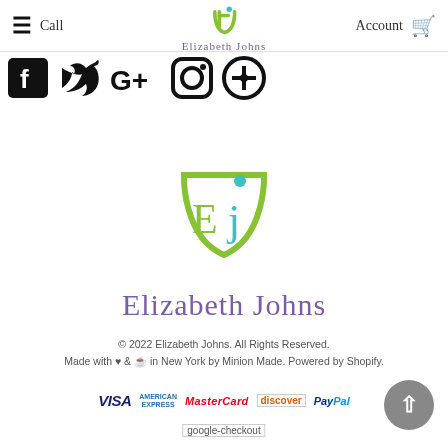≡ Call  [EJ Logo] Elizabeth Johns  Account 🛒
[Figure (logo): Social media icons row: Facebook, Twitter, Google+, Instagram, Pinterest]
[Figure (logo): Elizabeth Johns large brand logo with green and teal EJ shield monogram]
Elizabeth Johns
© 2022 Elizabeth Johns. All Rights Reserved. Made with ♥ & ☕ in New York by Minion Made. Powered by Shopify.
[Figure (logo): Payment method logos: VISA, American Express, MasterCard, Discover, PayPal, Google Checkout]